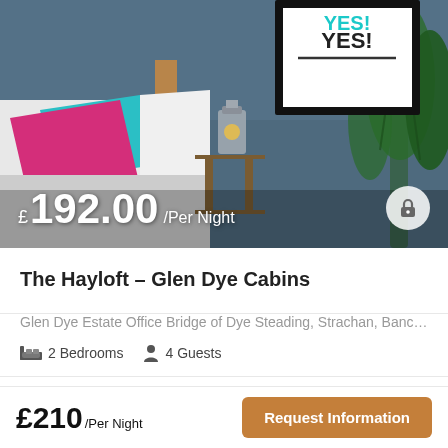[Figure (photo): Bedroom interior with blue-grey walls, pink and teal pillows on a white bed, an industrial-style lamp on a wooden side table, and a framed YES! poster on the wall. Price overlay: £192.00/Per Night.]
The Hayloft – Glen Dye Cabins
Glen Dye Estate Office Bridge of Dye Steading, Strachan, Bancho
2 Bedrooms   4 Guests
£210/Per Night
Request Information